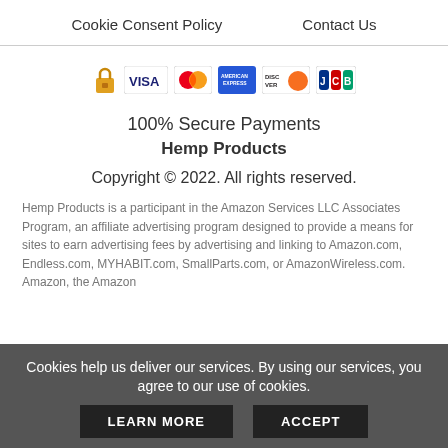Cookie Consent Policy    Contact Us
[Figure (infographic): Payment method icons: lock icon, VISA, MasterCard, American Express, Discover, JCB]
100% Secure Payments
Hemp Products
Copyright © 2022. All rights reserved.
Hemp Products is a participant in the Amazon Services LLC Associates Program, an affiliate advertising program designed to provide a means for sites to earn advertising fees by advertising and linking to Amazon.com, Endless.com, MYHABIT.com, SmallParts.com, or AmazonWireless.com. Amazon, the Amazon
Cookies help us deliver our services. By using our services, you agree to our use of cookies.
LEARN MORE    ACCEPT